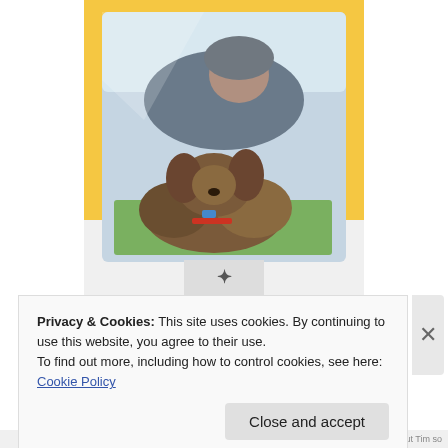[Figure (photo): A small dog (Yorkshire Terrier) resting inside a yellow and white pet stroller/carrier with a clear plastic window, viewed from outside through the window. A person's legs are visible in the background.]
Privacy & Cookies: This site uses cookies. By continuing to use this website, you agree to their use.
To find out more, including how to control cookies, see here: Cookie Policy
Close and accept